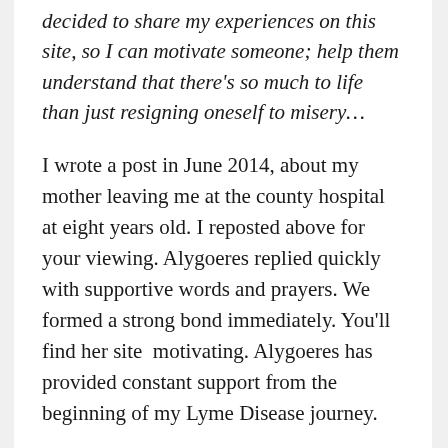decided to share my experiences on this site, so I can motivate someone; help them understand that there's so much to life than just resigning oneself to misery...
I wrote a post in June 2014, about my mother leaving me at the county hospital at eight years old. I reposted above for your viewing. Alygoeres replied quickly with supportive words and prayers. We formed a strong bond immediately. You'll find her site  motivating. Alygoeres has provided constant support from the beginning of my Lyme Disease journey.
Seven Facts About Me:
My brother shot me in leg with his new BB Gun when I was 10 years old.